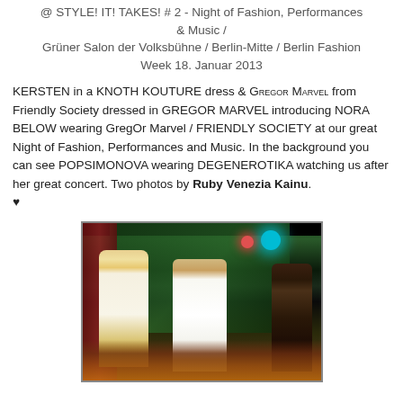@ STYLE! IT! TAKES! # 2 - Night of Fashion, Performances & Music / Grüner Salon der Volksbühne / Berlin-Mitte / Berlin Fashion Week 18. Januar 2013
KERSTEN in a KNOTH KOUTURE dress & GREGOR MARVEL from Friendly Society dressed in GREGOR MARVEL introducing NORA BELOW wearing GregOr Marvel / FRIENDLY SOCIETY at our great Night of Fashion, Performances and Music. In the background you can see POPSIMONOVA wearing DEGENEROTIKA watching us after her great concert. Two photos by Ruby Venezia Kainu. ♥
[Figure (photo): Photo of performers on stage at a fashion event. A blonde figure in white on the left, a person in a white suit in the center, and a dark-clothed figure on the right. Stage lighting with teal and red lights visible, green curtain backdrop, warm orange floor lighting.]